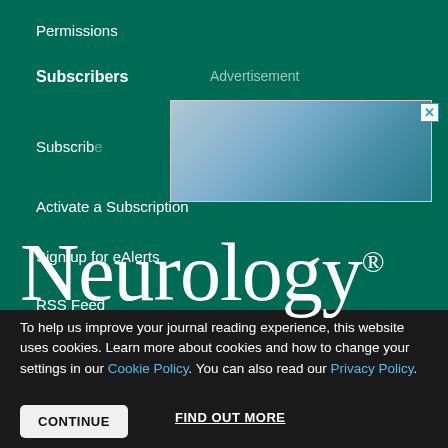Permissions
Subscribers
Advertisement
[Figure (photo): Advertisement banner image showing a cloudy sky background with a close button (X) in the top-right corner]
Subscribe
Activate a Subscription
Sign up for eAlerts
RSS Feed
Neurology®
To help us improve your journal reading experience, this website uses cookies. Learn more about cookies and how to change your settings in our Cookie Policy. You can also read our Privacy Policy.
CONTINUE
FIND OUT MORE